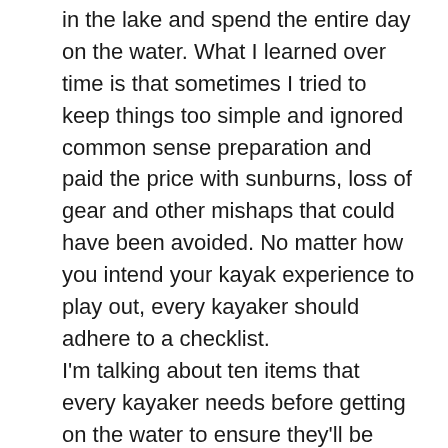in the lake and spend the entire day on the water. What I learned over time is that sometimes I tried to keep things too simple and ignored common sense preparation and paid the price with sunburns, loss of gear and other mishaps that could have been avoided. No matter how you intend your kayak experience to play out, every kayaker should adhere to a checklist.
I'm talking about ten items that every kayaker needs before getting on the water to ensure they'll be prepared for anything and have a positive experience. You may modify this list depending on what you plan on doing but let's start here.